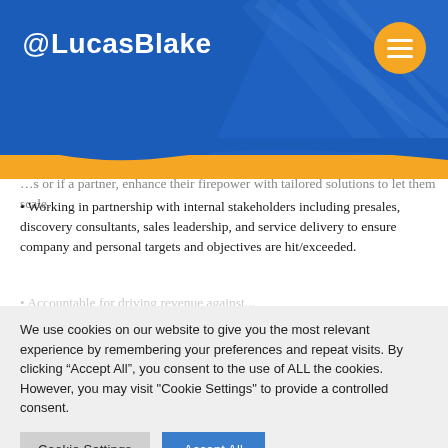@LucasBlake
...s or if a partner, enhance their firepower with tailored solutions to let them scale.
• Working in partnership with internal stakeholders including presales, discovery consultants, sales leadership, and service delivery to ensure company and personal targets and objectives are hit/exceeded.
We use cookies on our website to give you the most relevant experience by remembering your preferences and repeat visits. By clicking "Accept All", you consent to the use of ALL the cookies. However, you may visit "Cookie Settings" to provide a controlled consent.